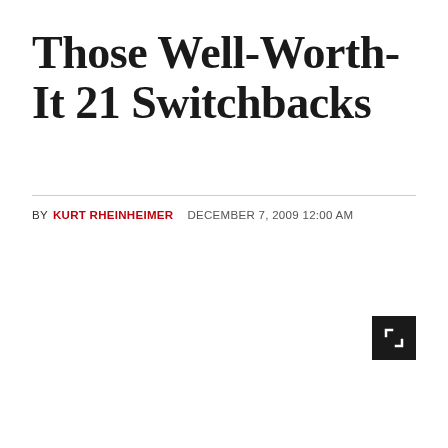Those Well-Worth-It 21 Switchbacks
BY KURT RHEINHEIMER  DECEMBER 7, 2009 12:00 AM
[Figure (other): Expand/fullscreen icon button — black square with a white bracket/corner symbol inside]